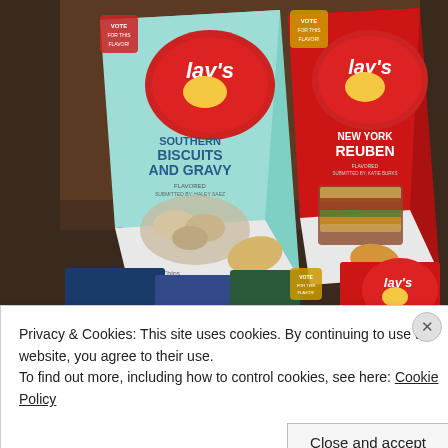[Figure (photo): Photo of two Lay's potato chip bags on a wooden table. Left bag is teal/mint colored with 'Lay's Southern Biscuits and Gravy' flavor, showing biscuits and gravy image. Right bag is red with 'Lay's New York Reuben' flavor, showing a reuben sandwich image. Additional smaller Lay's bags visible at bottom.]
Privacy & Cookies: This site uses cookies. By continuing to use this website, you agree to their use.
To find out more, including how to control cookies, see here: Cookie Policy
Close and accept